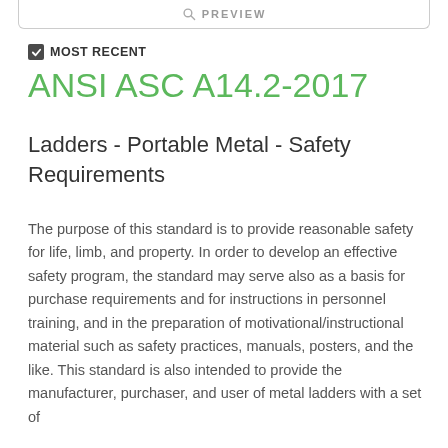PREVIEW
MOST RECENT
ANSI ASC A14.2-2017
Ladders - Portable Metal - Safety Requirements
The purpose of this standard is to provide reasonable safety for life, limb, and property. In order to develop an effective safety program, the standard may serve also as a basis for purchase requirements and for instructions in personnel training, and in the preparation of motivational/instructional material such as safety practices, manuals, posters, and the like. This standard is also intended to provide the manufacturer, purchaser, and user of metal ladders with a set of